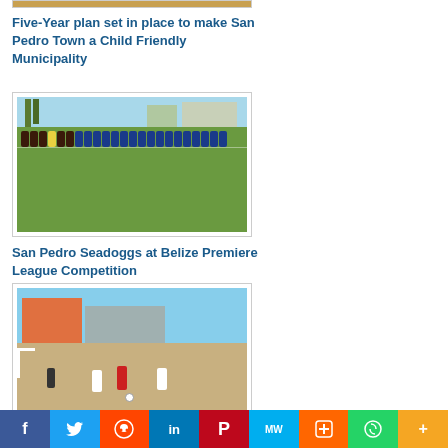[Figure (photo): Partial cropped image at top of page (cut off)]
Five-Year plan set in place to make San Pedro Town a Child Friendly Municipality
[Figure (photo): Soccer players lined up on a green grass field with palm trees and buildings in background]
San Pedro Seadoggs at Belize Premiere League Competition
[Figure (photo): Beach soccer players on sandy field with colorful buildings in background]
Social share bar: Facebook, Twitter, Reddit, LinkedIn, Pinterest, MW, Mix, WhatsApp, More